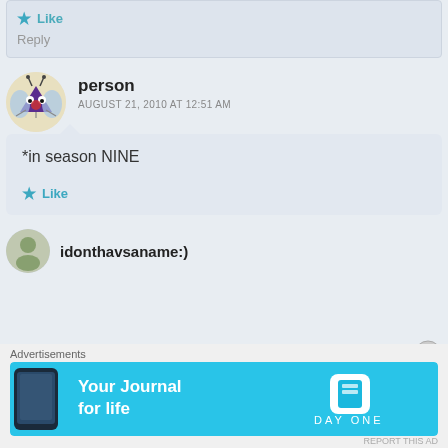Like
Reply
person
AUGUST 21, 2010 AT 12:51 AM
*in season NINE
Like
idonthavsaname:)
Advertisements
[Figure (screenshot): Day One app advertisement banner: cyan/blue background, 'Your Journal for life' text, Day One logo icon, and phone image]
REPORT THIS AD